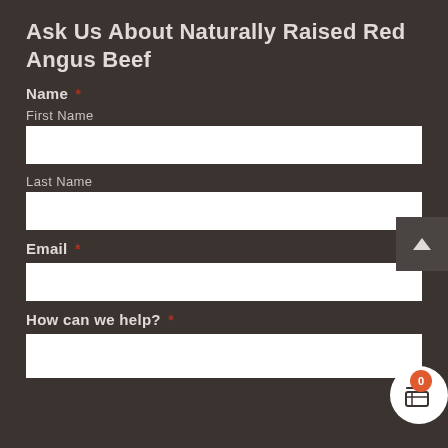Ask Us About Naturally Raised Red Angus Beef
Name *
First Name
[Figure (other): Empty white text input box for First Name]
Last Name
[Figure (other): Empty white text input box for Last Name]
Email *
[Figure (other): Empty white text input box for Email]
How can we help? *
[Figure (other): Empty white textarea for How can we help]
[Figure (other): Dark scroll-to-top button with upward chevron arrow]
[Figure (other): White circular shopping cart button with orange badge showing 0]